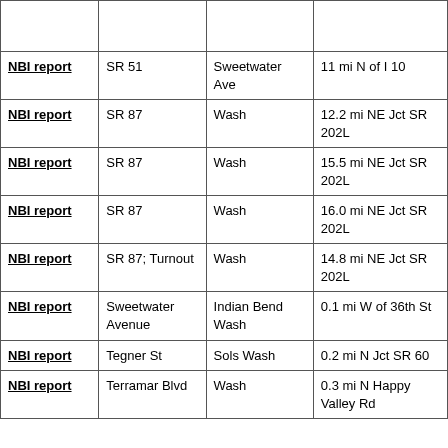|  |  |  |  |
| NBI report | SR 51 | Sweetwater Ave | 11 mi N of I 10 |
| NBI report | SR 87 | Wash | 12.2 mi NE Jct SR 202L |
| NBI report | SR 87 | Wash | 15.5 mi NE Jct SR 202L |
| NBI report | SR 87 | Wash | 16.0 mi NE Jct SR 202L |
| NBI report | SR 87; Turnout | Wash | 14.8 mi NE Jct SR 202L |
| NBI report | Sweetwater Avenue | Indian Bend Wash | 0.1 mi W of 36th St |
| NBI report | Tegner St | Sols Wash | 0.2 mi N Jct SR 60 |
| NBI report | Terramar Blvd | Wash | 0.3 mi N Happy Valley Rd |